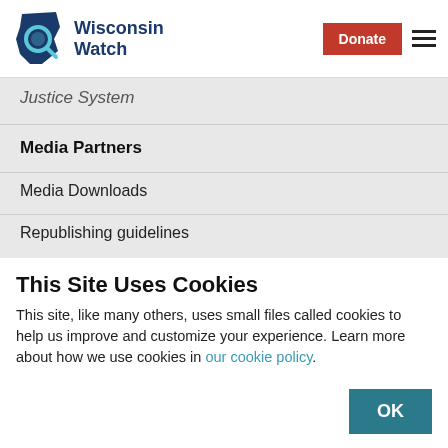Wisconsin Watch | Donate
Justice System
Media Partners
Media Downloads
Republishing guidelines
Contact
This Site Uses Cookies
This site, like many others, uses small files called cookies to help us improve and customize your experience. Learn more about how we use cookies in our cookie policy.